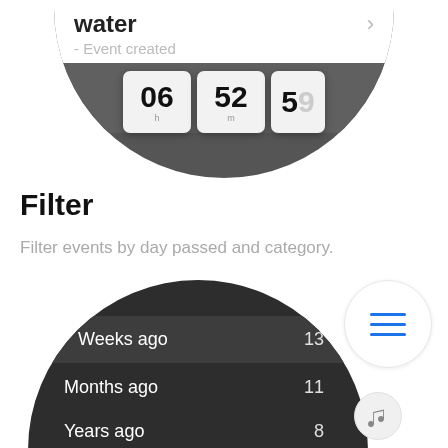[Figure (screenshot): Top half of a mobile app screenshot showing an event entry with title ending in 'water', subtitle '- Event created', a right chevron arrow, and a time picker showing 06 (h), 52 (m), and a partially visible value, on a dark background.]
Filter
Filter events by day passed and category.
[Figure (screenshot): Bottom half of a mobile app screenshot showing a dark-themed filter list with rows: '19' at top, 'Weeks ago 13' (highlighted), 'Months ago 11', 'Years ago 8', 'Categories' section header, and icon bar at bottom. To the right is a circular button with three blue horizontal lines (hamburger menu) and a smaller circular music note button.]